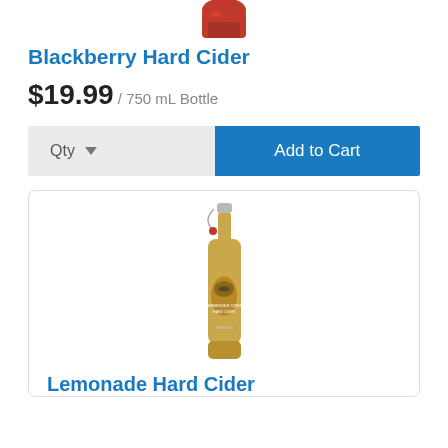[Figure (photo): Partial view of a red/dark bottle of Blackberry Hard Cider at the top of the page]
Blackberry Hard Cider
$19.99 / 750 mL Bottle
Qty ▼  Add to Cart
[Figure (photo): A yellow-green swing-top glass bottle of Tennessee Cider Co. Hard Cider with a round label featuring an eagle and American flag motif]
Lemonade Hard Cider (partial, cut off)